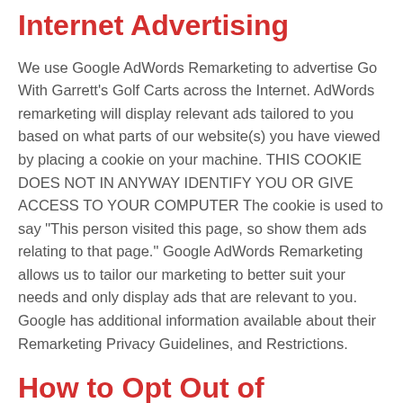Internet Advertising
We use Google AdWords Remarketing to advertise Go With Garrett’s Golf Carts across the Internet. AdWords remarketing will display relevant ads tailored to you based on what parts of our website(s) you have viewed by placing a cookie on your machine. THIS COOKIE DOES NOT IN ANYWAY IDENTIFY YOU OR GIVE ACCESS TO YOUR COMPUTER The cookie is used to say “This person visited this page, so show them ads relating to that page.” Google AdWords Remarketing allows us to tailor our marketing to better suit your needs and only display ads that are relevant to you. Google has additional information available about their Remarketing Privacy Guidelines, and Restrictions.
How to Opt Out of Remarketing and